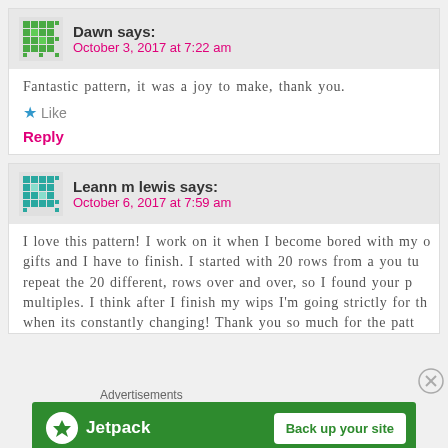Dawn says:
October 3, 2017 at 7:22 am
Fantastic pattern, it was a joy to make, thank you.
Like
Reply
Leann m lewis says:
October 6, 2017 at 7:59 am
I love this pattern! I work on it when I become bored with my other gifts and I have to finish. I started with 20 rows from a you tu repeat the 20 different, rows over and over, so I found your p multiples. I think after I finish my wips I'm going strictly for the when its constantly changing! Thank you so much for the patt
Advertisements
[Figure (illustration): Jetpack advertisement banner with green background, Jetpack logo on left and 'Back up your site' button on right]